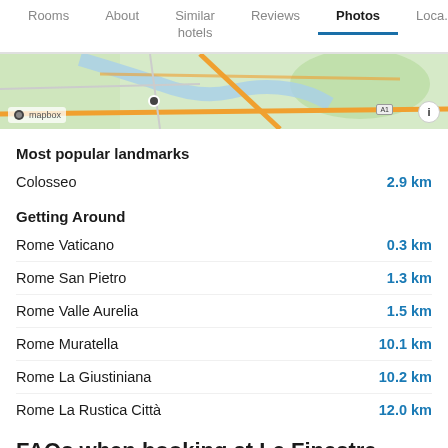Rooms | About | Similar hotels | Reviews | Photos | Loca...
[Figure (map): Mapbox map strip showing Rome area with roads and landmarks]
Most popular landmarks
| Location | Distance |
| --- | --- |
| Colosseo | 2.9 km |
Getting Around
| Location | Distance |
| --- | --- |
| Rome Vaticano | 0.3 km |
| Rome San Pietro | 1.3 km |
| Rome Valle Aurelia | 1.5 km |
| Rome Muratella | 10.1 km |
| Rome La Giustiniana | 10.2 km |
| Rome La Rustica Città | 12.0 km |
FAQs when booking at Le Finestre